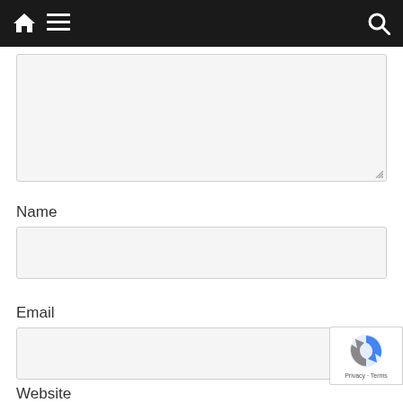Navigation bar with home, menu, and search icons
[Figure (screenshot): Textarea input field (empty comment box) with resize handle at bottom right]
Name
[Figure (screenshot): Name text input field (empty)]
Email
[Figure (screenshot): Email text input field (empty)]
[Figure (screenshot): reCAPTCHA badge with logo and Privacy - Terms text]
Website
[Figure (screenshot): Website text input field (empty, partially visible)]